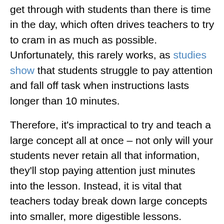get through with students than there is time in the day, which often drives teachers to try to cram in as much as possible. Unfortunately, this rarely works, as studies show that students struggle to pay attention and fall off task when instructions lasts longer than 10 minutes.
Therefore, it's impractical to try and teach a large concept all at once – not only will your students never retain all that information, they'll stop paying attention just minutes into the lesson. Instead, it is vital that teachers today break down large concepts into smaller, more digestible lessons. Essentially, focus on the granular first and build to large concepts.
One method that helps teachers take big-picture concepts and make them small is the ADEPT method. The ADEPT method breaks your potential lesson into five simple steps: